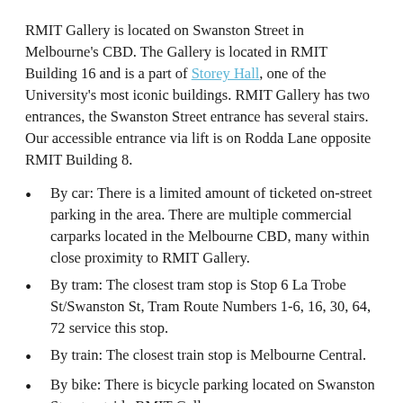RMIT Gallery is located on Swanston Street in Melbourne's CBD. The Gallery is located in RMIT Building 16 and is a part of Storey Hall, one of the University's most iconic buildings. RMIT Gallery has two entrances, the Swanston Street entrance has several stairs. Our accessible entrance via lift is on Rodda Lane opposite RMIT Building 8.
By car: There is a limited amount of ticketed on-street parking in the area. There are multiple commercial carparks located in the Melbourne CBD, many within close proximity to RMIT Gallery.
By tram: The closest tram stop is Stop 6 La Trobe St/Swanston St, Tram Route Numbers 1-6, 16, 30, 64, 72 service this stop.
By train: The closest train stop is Melbourne Central.
By bike: There is bicycle parking located on Swanston Street outside RMIT Gallery.